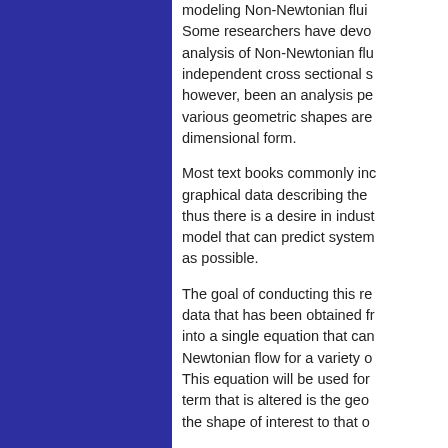modeling Non-Newtonian fluids. Some researchers have devoted analysis of Non-Newtonian fluids independent cross sectional s however, been an analysis pe various geometric shapes are dimensional form.
Most text books commonly inc graphical data describing the thus there is a desire in indust model that can predict system as possible.
The goal of conducting this re data that has been obtained fr into a single equation that can Newtonian flow for a variety o This equation will be used for term that is altered is the geo the shape of interest to that o
CRISTIAN ENACHE, Département statistique, Cité universitaire Québe Canada
Corresponding author is fo...